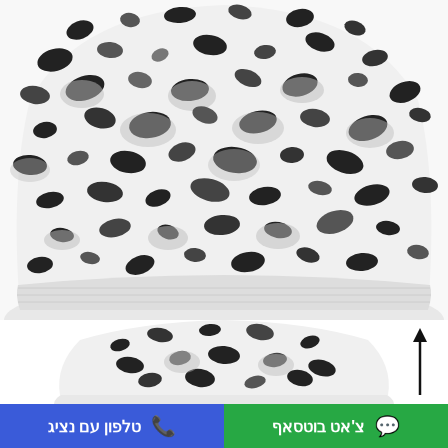[Figure (photo): Close-up top view of a white/grey beanie hat with black leopard print pattern, ribbed cuff visible at bottom of hat, white background]
[Figure (photo): Smaller secondary view of the same leopard print beanie hat seen from above, with an upward arrow on the right side]
צ'אט בוטסאף
טלפון עם נציג